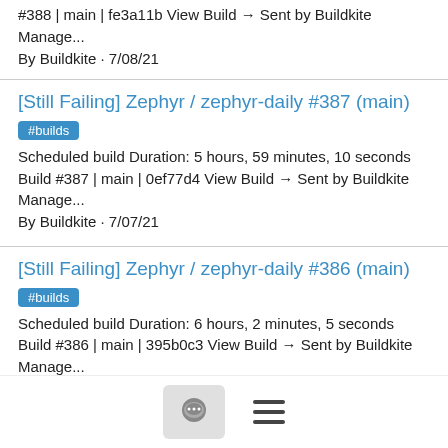#388 | main | fe3a11b View Build → Sent by Buildkite Manage...
By Buildkite · 7/08/21
[Still Failing] Zephyr / zephyr-daily #387 (main)
#builds
Scheduled build Duration: 5 hours, 59 minutes, 10 seconds Build #387 | main | 0ef77d4 View Build → Sent by Buildkite Manage...
By Buildkite · 7/07/21
[Still Failing] Zephyr / zephyr-daily #386 (main)
#builds
Scheduled build Duration: 6 hours, 2 minutes, 5 seconds Build #386 | main | 395b0c3 View Build → Sent by Buildkite Manage...
By Buildkite · 7/06/21
[Still Failing] Zephyr / zephyr-daily #385 (main)
#builds
Scheduled build Duration: 5 hours, 59 minutes, 8 seconds Build #385 | main | 91a6b28 View Build → Sent by Buildkite Manage...
By Buildkite · 7/05/21